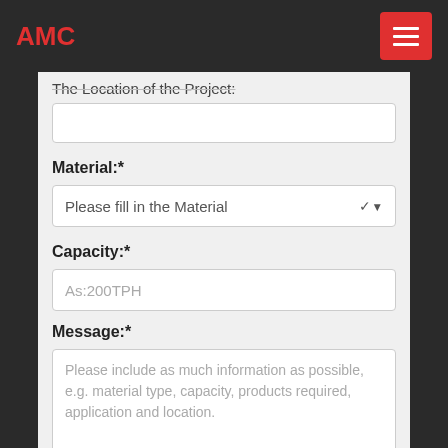AMC
The Location of the Project:
Material:*
Please fill in the Material
Capacity:*
As:200TPH
Message:*
Please include as much information as possible, e.g. material type, capacity, products required, application and location.
YOU also can send a E-mail: inquiry@shanghaimeilan.com We don't share customer information and we hate